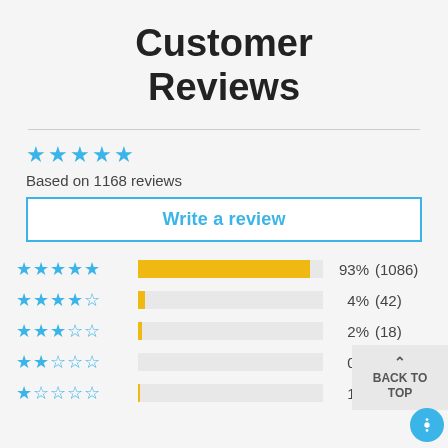Customer Reviews
[Figure (other): 5 filled blue stars rating display]
Based on 1168 reviews
Write a review
[Figure (bar-chart): Rating distribution]